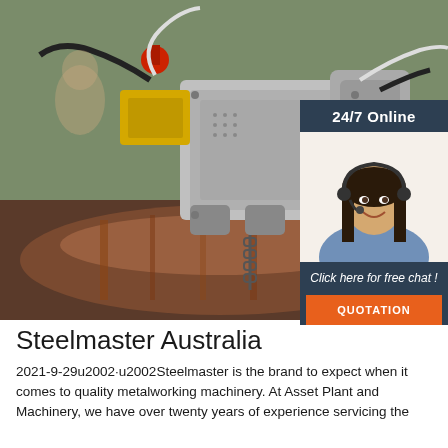[Figure (photo): Industrial pipe welding/cutting machine with yellow, silver and red components, mounted on a large rusty pipe, with hoses and a chain visible. Close-up photograph of metalworking machinery in outdoor setting.]
[Figure (photo): Sidebar overlay showing a smiling woman with headset on dark navy background, with '24/7 Online' text, 'Click here for free chat!' in italic, and an orange QUOTATION button.]
Steelmaster Australia
2021-9-29u2002·u2002Steelmaster is the brand to expect when it comes to quality metalworking machinery. At Asset Plant and Machinery, we have over twenty years of experience servicing the